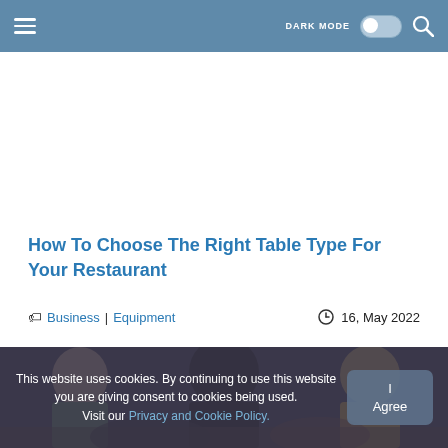DARK MODE [toggle] [search]
How To Choose The Right Table Type For Your Restaurant
Business | Equipment   16, May 2022
[Figure (photo): People sitting at a restaurant table, group of women dining together]
This website uses cookies. By continuing to use this website you are giving consent to cookies being used. Visit our Privacy and Cookie Policy.